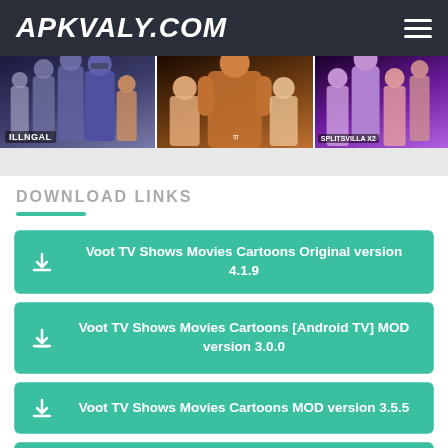APKVALY.COM
[Figure (screenshot): Banner strip showing three movie/show thumbnails: ILLEGAL, an action show with muscular male figure, and Splitsvilla X2]
DOWNLOAD LINKS
Voot TV Shows Movies Cartoons Original version 4.1.9
Voot TV Shows Movies Cartoons [Android TV] MOD version 3.0.0
Voot TV Shows Movies Cartoons MOD version 3.5.5
Voot TV Shows Movies Cartoons MOD version 3.3 9